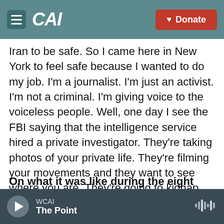CAI | Donate
Iran to be safe. So I came here in New York to feel safe because I wanted to do my job. I'm a journalist. I'm just an activist. I'm not a criminal. I'm giving voice to the voiceless people. Well, one day I see the FBI saying that the intelligence service hired a private investigator. They're taking photos of your private life. They're filming your movements and they want to see where you are. They're going to kidnap you from here. We're going to take care of you.
On what it was like during the eight months since the FBI first informed her about the plot
WCAI | The Point